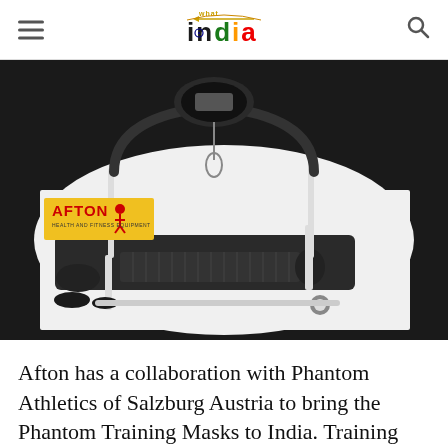What India | India logo header with hamburger menu and search icon
[Figure (photo): A treadmill / fitness equipment product photo on dark background, with Afton Health and Fitness Equipment logo badge in top-left corner]
Afton has a collaboration with Phantom Athletics of Salzburg Austria to bring the Phantom Training Masks to India. Training masks do not create low-